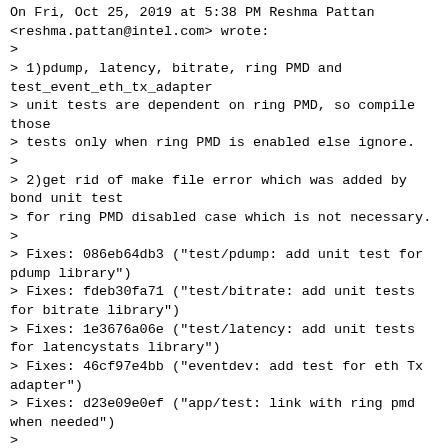On Fri, Oct 25, 2019 at 5:38 PM Reshma Pattan <reshma.pattan@intel.com> wrote:
>
> 1)pdump, latency, bitrate, ring PMD and test_event_eth_tx_adapter
> unit tests are dependent on ring PMD, so compile those
> tests only when ring PMD is enabled else ignore.
>
> 2)get rid of make file error which was added by bond unit test
> for ring PMD disabled case which is not necessary.
>
> Fixes: 086eb64db3 ("test/pdump: add unit test for pdump library")
> Fixes: fdeb30fa71 ("test/bitrate: add unit tests for bitrate library")
> Fixes: 1e3676a06e ("test/latency: add unit tests for latencystats library")
> Fixes: 46cf97e4bb ("eventdev: add test for eth Tx adapter")
> Fixes: d23e09e0ef ("app/test: link with ring pmd when needed")
>
> CC: stable@dpdk.org
> CC: Nikhil Rao <nikhil.rao@intel.com>
> CC: Chas Williams <chas3@att.com>
> CC: Bruce Richardson